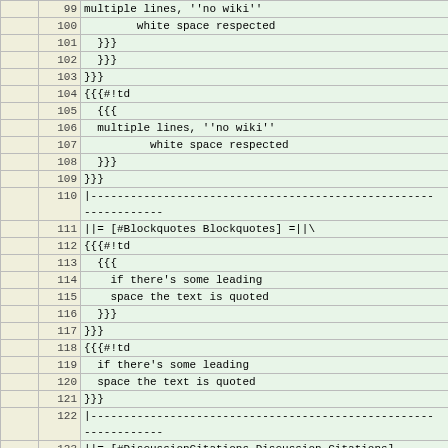|  | line | code |
| --- | --- | --- |
|  | 99 | multiple lines, ''no wiki'' |
|  | 100 |         white space respected |
|  | 101 |   }}} |
|  | 102 |   }}} |
|  | 103 | }}} |
|  | 104 | {{{#!td |
|  | 105 |   {{{ |
|  | 106 |   multiple lines, ''no wiki'' |
|  | 107 |           white space respected |
|  | 108 |   }}} |
|  | 109 | }}} |
|  | 110 | |----------------------------------------------------
------------ |
|  | 111 | ||= [#Blockquotes Blockquotes] =||\ |
|  | 112 | {{{#!td |
|  | 113 |   {{{ |
|  | 114 |     if there's some leading |
|  | 115 |     space the text is quoted |
|  | 116 |   }}} |
|  | 117 | }}} |
|  | 118 | {{{#!td |
|  | 119 |   if there's some leading |
|  | 120 |   space the text is quoted |
|  | 121 | }}} |
|  | 122 | |----------------------------------------------------
------------ |
|  | 123 | ||= [#DiscussionCitations Discussion Citations]
=||\ |
|  | 124 | {{{#!td |
|  | 125 |   {{{ |
|  | 126 |   >> ... (I said) |
|  | 127 |   > (he replied) |
|  | 128 |   }}} |